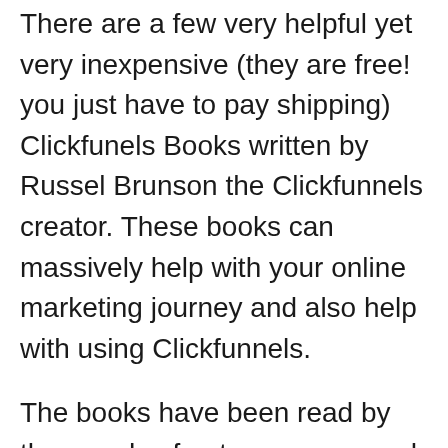There are a few very helpful yet very inexpensive (they are free! you just have to pay shipping) Clickfunels Books written by Russel Brunson the Clickfunnels creator. These books can massively help with your online marketing journey and also help with using Clickfunnels.
The books have been read by thousands of entrepreneurs and online marketers and really are worth adding to your collection.
Make sure these books don't just and